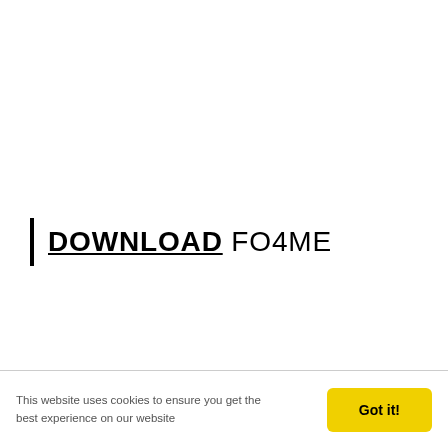DOWNLOAD FO4ME
This website uses cookies to ensure you get the best experience on our website